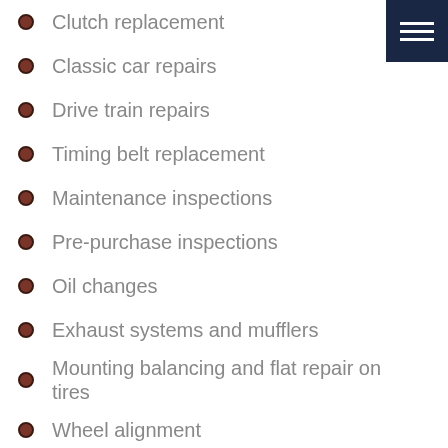Clutch replacement
Classic car repairs
Drive train repairs
Timing belt replacement
Maintenance inspections
Pre-purchase inspections
Oil changes
Exhaust systems and mufflers
Mounting balancing and flat repair on tires
Wheel alignment
Rebuilt transmissions
Cooling system service and repair
Suspension and steering repair
Shocks and struts
AC service and repair